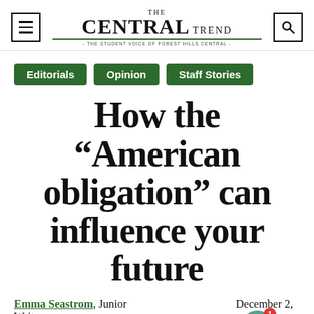THE CENTRAL TREND - THE STUDENT VOICE OF FOREST HILLS CENTRAL -
Editorials
Opinion
Staff Stories
How the “American obligation” can influence your future
Emma Seastrom, Junior Writer   December 2, 2021   1 Comment